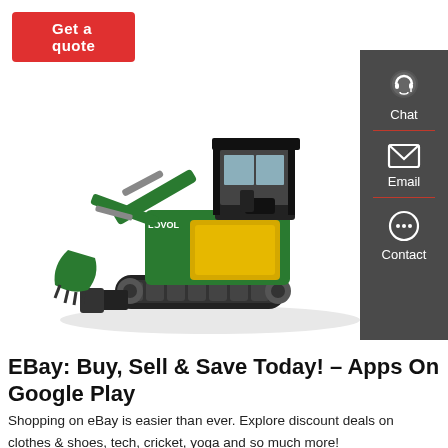[Figure (other): Red 'Get a quote' button at top left]
[Figure (photo): Green and yellow Lovol mini excavator/digger with bucket arm extended, on white background, with dark grey sidebar showing Chat, Email, and Contact icons on the right]
EBay: Buy, Sell & Save Today! – Apps On Google Play
Shopping on eBay is easier than ever. Explore discount deals on clothes & shoes, tech, cricket, yoga and so much more!